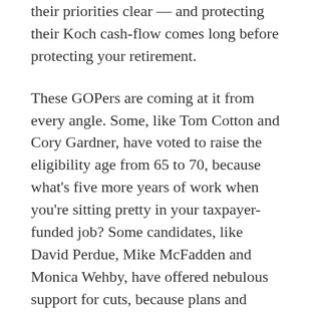their priorities clear — and protecting their Koch cashflow comes long before protecting your retirement.
These GOPers are coming at it from every angle. Some, like Tom Cotton and Cory Gardner, have voted to raise the eligibility age from 65 to 70, because what's five more years of work when you're sitting pretty in your taxpayer-funded job? Some candidates, like David Perdue, Mike McFadden and Monica Wehby, have offered nebulous support for cuts, because plans and details are hard (and voters clearly might not like to hear what they really think). Terri Lynn Land and Joni Ernst haven't spent time in Congress yet, but they sure are keen on privatizing the program. Mainstream? Not hardly.
And then, of course, you have your Mitch McConnells of the world — the wise elders who have spent a lifetime fighting